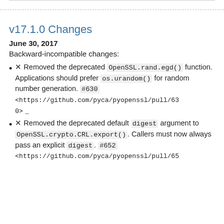v17.1.0 Changes
June 30, 2017
Backward-incompatible changes:
✕ Removed the deprecated OpenSSL.rand.egd() function. Applications should prefer os.urandom() for random number generation.  #630 <https://github.com/pyca/pyopenssl/pull/630> _
✕ Removed the deprecated default digest argument to OpenSSL.crypto.CRL.export() . Callers must now always pass an explicit digest .  #652 <https://github.com/pyca/pyopenssl/pull/65